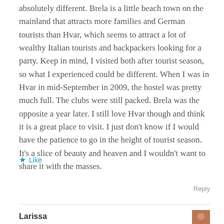absolutely different. Brela is a little beach town on the mainland that attracts more families and German tourists than Hvar, which seems to attract a lot of wealthy Italian tourists and backpackers looking for a party. Keep in mind, I visited both after tourist season, so what I experienced could be different. When I was in Hvar in mid-September in 2009, the hostel was pretty much full. The clubs were still packed. Brela was the opposite a year later. I still love Hvar though and think it is a great place to visit. I just don't know if I would have the patience to go in the height of tourist season. It's a slice of beauty and heaven and I wouldn't want to share it with the masses.
Like
Reply
Larissa